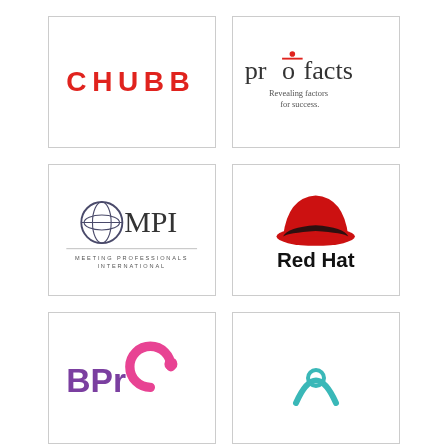[Figure (logo): CHUBB logo in red uppercase letters]
[Figure (logo): profacts logo with red dot over letter o, tagline: Revealing factors for success.]
[Figure (logo): MPI Meeting Professionals International logo with globe icon]
[Figure (logo): Red Hat logo with red fedora hat icon and bold text Red Hat]
[Figure (logo): BPro logo in pink/magenta with circular swish element]
[Figure (logo): Partial logo, teal/cyan colored, partially visible]